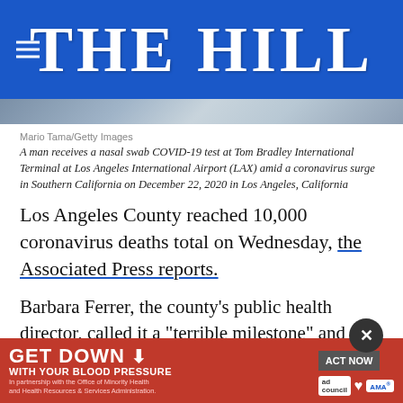THE HILL
[Figure (photo): Partial photo of a man receiving a nasal swab COVID-19 test at an airport]
Mario Tama/Getty Images
A man receives a nasal swab COVID-19 test at Tom Bradley International Terminal at Los Angeles International Airport (LAX) amid a coronavirus surge in Southern California on December 22, 2020 in Los Angeles, California
Los Angeles County reached 10,000 coronavirus deaths total on Wednesday, the Associated Press reports.
Barbara Ferrer, the county's public health director, called it a “terrible milestone” and said more could have been done to prevent it from being reached.
“Most heartbreakingly, if we had done a better job of [prevention], a great proportion of these deaths would not have happened,” she said.
[Figure (infographic): GET DOWN WITH YOUR BLOOD PRESSURE advertisement banner with ACT NOW button, ad council logo, heart association logo, and AMA logo]